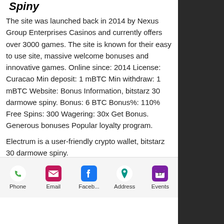Spiny
The site was launched back in 2014 by Nexus Group Enterprises Casinos and currently offers over 3000 games. The site is known for their easy to use site, massive welcome bonuses and innovative games. Online since: 2014 License: Curacao Min deposit: 1 mBTC Min withdraw: 1 mBTC Website: Bonus Information, bitstarz 30 darmowe spiny. Bonus: 6 BTC Bonus%: 110% Free Spins: 300 Wagering: 30x Get Bonus. Generous bonuses Popular loyalty program.
Electrum is a user-friendly crypto wallet, bitstarz 30 darmowe spiny.
You may not be able to gamble crypto if you reside in countries such as Algeria, Iran, North Korea, and a few more. Bitcoin Sportsbook Rating : 8, bitstarz 30 darmowe
Phone  Email  Faceb...  Address  Events